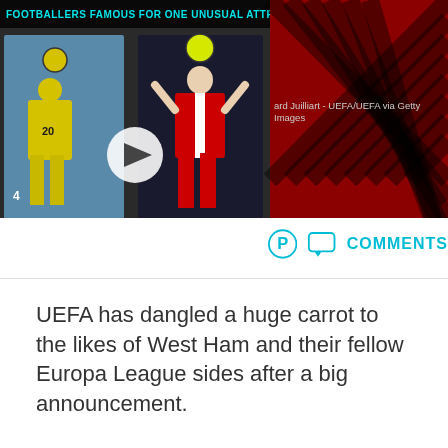[Figure (screenshot): Video thumbnail showing footballers with title bar reading 'Footballers Famous For One Unusual Attribute' with play button overlay and two player images]
ard Juilliart - UEFA/UEFA via Getty Images
COMMENTS
UEFA has dangled a huge carrot to the likes of West Ham and their fellow Europa League sides after a big announcement.
[Figure (other): Notification bell icon (dark circular button) and Ad button at bottom of page]